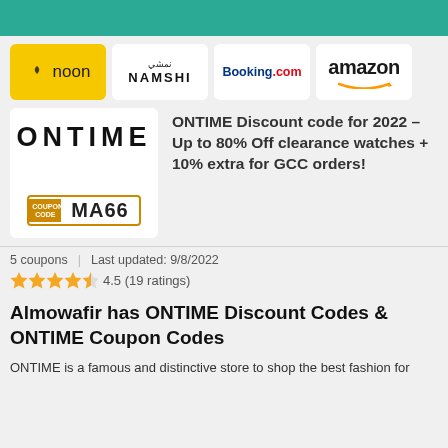[Figure (logo): Teal header bar at top of page]
[Figure (logo): Row of brand logos: noon, NAMSHI, Booking.com, amazon]
[Figure (logo): ONTIME coupon card with logo and code MA66]
ONTIME Discount code for 2022 – Up to 80% Off clearance watches + 10% extra for GCC orders!
5 coupons | Last updated: 9/8/2022
4.5 (19 ratings)
Almowafir has ONTIME Discount Codes & ONTIME Coupon Codes
ONTIME is a famous and distinctive store to shop the best fashion for